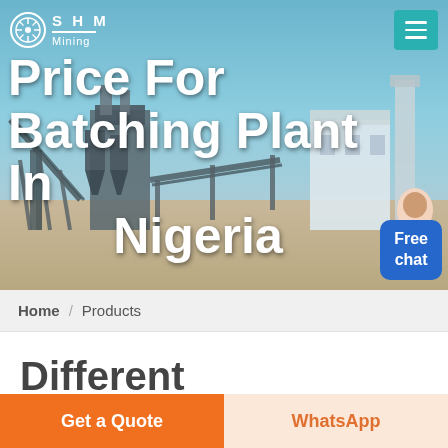[Figure (screenshot): SHM Mining website hero banner showing an industrial batching/mining plant with blue sky background. Logo top-left, hamburger menu top-right.]
Price For Batching Plant In Nigeria
Home / Products
Different Machines To Meet All Need
Get a Quote
WhatsApp